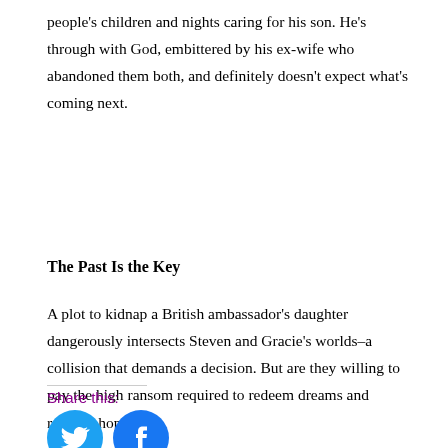people's children and nights caring for his son. He's through with God, embittered by his ex-wife who abandoned them both, and definitely doesn't expect what's coming next.
The Past Is the Key
A plot to kidnap a British ambassador's daughter dangerously intersects Steven and Gracie's worlds–a collision that demands a decision. But are they willing to pay the high ransom required to redeem dreams and reignite hope?
Share this:
[Figure (illustration): Two circular social media share buttons: Twitter (blue bird icon) and Facebook (blue 'f' icon)]